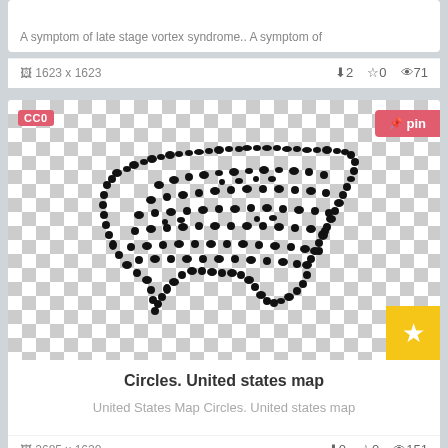A symptom of late stage vortex syndrome.. A symptom of
1623 x 1623   ⬇2  ☆0  👁71
[Figure (map): Circles. United States map made of scattered small circular/blob shapes forming the outline of the contiguous United States]
Circles. United states map
United States Map Circles. United states map
2685 x 1620   ⬇0  ☆0  👁151
[Figure (illustration): Heart shape made of pixel/dot pattern, partially visible at bottom of page]